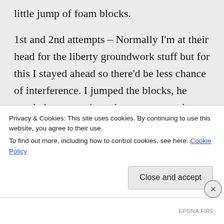little jump of foam blocks.

1st and 2nd attempts – Normally I'm at their head for the liberty groundwork stuff but for this I stayed ahead so there'd be less chance of interference. I jumped the blocks, he startled at my awkward movement and went around (he did stick right with me after that, at least). This human having to do the
Privacy & Cookies: This site uses cookies. By continuing to use this website, you agree to their use.
To find out more, including how to control cookies, see here: Cookie Policy